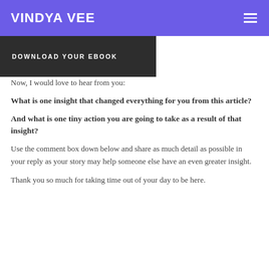VINDYA VEE
[Figure (other): Dark button/banner with text DOWNLOAD YOUR EBOOK]
Now, I would love to hear from you:
What is one insight that changed everything for you from this article?
And what is one tiny action you are going to take as a result of that insight?
Use the comment box down below and share as much detail as possible in your reply as your story may help someone else have an even greater insight.
Thank you so much for taking time out of your day to be here.